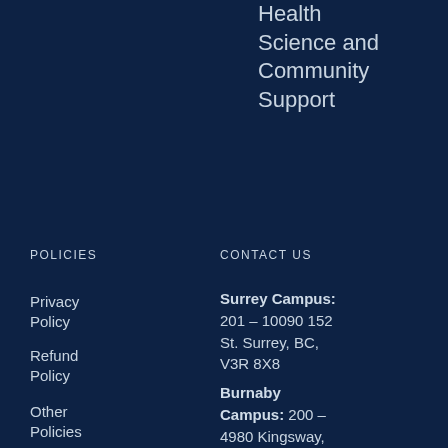Health Science and Community Support
POLICIES
CONTACT US
Privacy Policy
Refund Policy
Other Policies
Surrey Campus: 201 – 10090 152 St. Surrey, BC, V3R 8X8
Burnaby Campus: 200 – 4980 Kingsway, Burnaby, BC, V5H 4K7